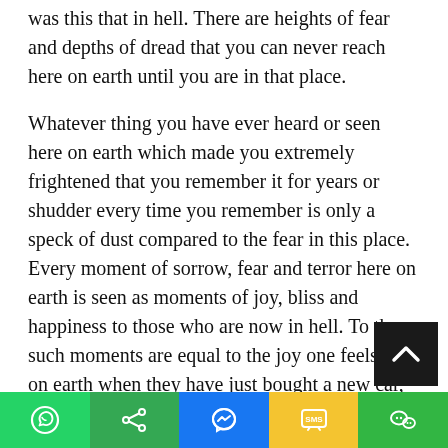was this that in hell. There are heights of fear and depths of dread that you can never reach here on earth until you are in that place.
Whatever thing you have ever heard or seen here on earth which made you extremely frightened that you remember it for years or shudder every time you remember is only a speck of dust compared to the fear in this place. Every moment of sorrow, fear and terror here on earth is seen as moments of joy, bliss and happiness to those who are now in hell. To them such moments are equal to the joy one feels here on earth when they have just bought a new car, closed a business deal, or passed their exams with flying colors.
This is not to scare you. This is the truth. And you are highly blessed that you know this while still on earth, so that you don't go to this place. Ask Jesus to help you.
[Figure (infographic): Social sharing bar with WhatsApp, Share, Messenger, SMS, and WeChat buttons]